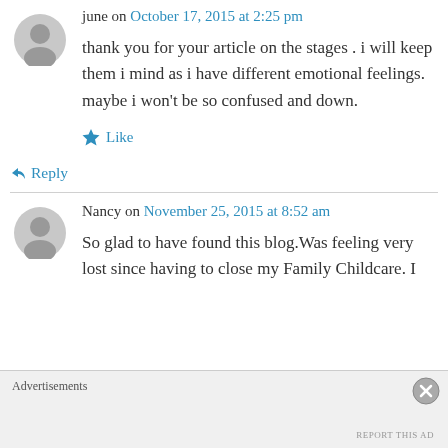june on October 17, 2015 at 2:25 pm
thank you for your article on the stages . i will keep them i mind as i have different emotional feelings. maybe i won't be so confused and down.
Like
↳ Reply
Nancy on November 25, 2015 at 8:52 am
So glad to have found this blog.Was feeling very lost since having to close my Family Childcare. I
Advertisements